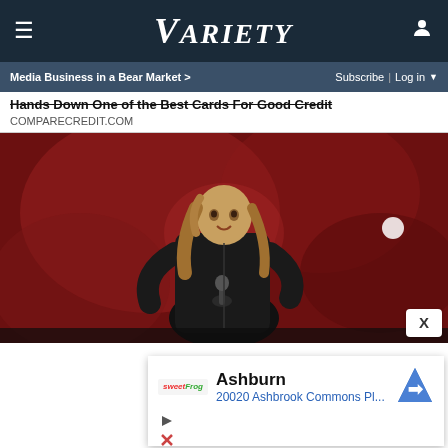VARIETY (navigation bar with logo)
Media Business in a Bear Market > | Subscribe | Log in
Hands Down One of the Best Cards For Good Credit
COMPARECREDIT.COM
[Figure (photo): A performer with long hair wearing a black jacket, singing into a microphone on a darkly lit stage with a red smoky background.]
Ashburn
20020 Ashbrook Commons Pl...